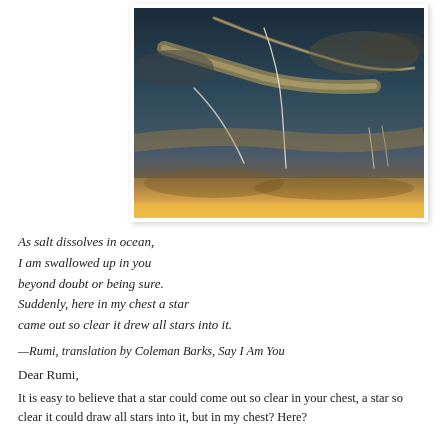[Figure (photo): Photograph of a sunset sky with dramatic cloud trails and contrails, golden orange light on the horizon fading to dark blue above.]
As salt dissolves in ocean,
I am swallowed up in you
beyond doubt or being sure.
Suddenly, here in my chest a star
came out so clear it drew all stars into it.
—Rumi, translation by Coleman Barks, Say I Am You
Dear Rumi,
It is easy to believe that a star could come out so clear in your chest, a star so clear it could draw all stars into it, but in my chest? Here?